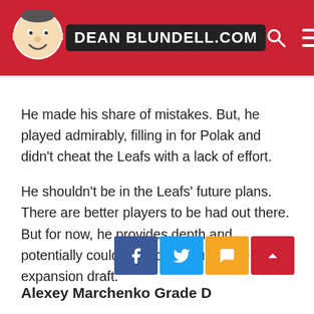DEAN BLUNDELL.COM
He made his share of mistakes. But, he played admirably, filling in for Polak and didn't cheat the Leafs with a lack of effort.
He shouldn't be in the Leafs' future plans. There are better players to be had out there. But for now, he provides depth and potentially could be scooped up in the expansion draft.
Alexey Marchenko Grade D